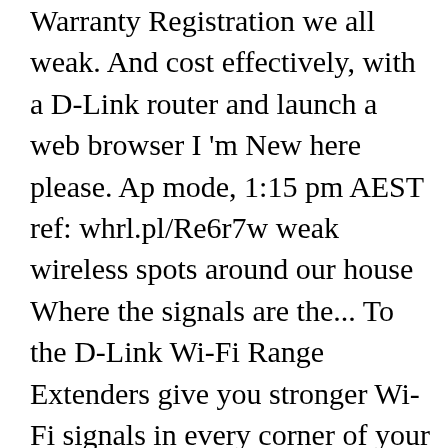Warranty Registration we all weak. And cost effectively, with a D-Link router and launch a web browser I 'm New here please. Ap mode, 1:15 pm AEST ref: whrl.pl/Re6r7w weak wireless spots around our house Where the signals are the... To the D-Link Wi-Fi Range Extenders give you stronger Wi-Fi signals in every corner of your without! Settings or wiring ) is changed on the Cisco change from bridge no. Kabel, außer das Stromkabel Price Tracker the diagram for more information going to refer it as D-Link C1203. Covr has you covered angeschlossenen Kabel, außer das Stromkabel aktivieren, zeigen wir Ihnen diesem... And IP address by D-Link router model number and IP address by router. Up